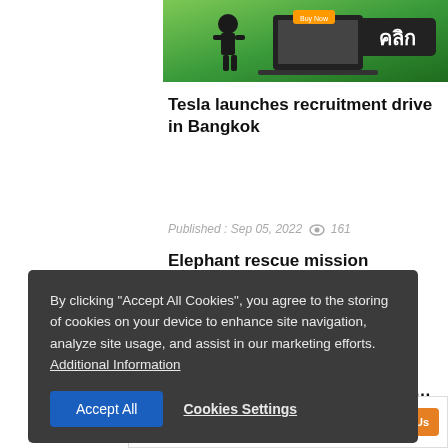[Figure (screenshot): Green banner advertisement with a dark box containing Thai text 'คลิก' (click)]
Tesla launches recruitment drive in Bangkok
Published : Sep 05, 2022  161
Elephant rescue mission launched after transport truck overturns
Sep 05, 2022  89
Constitutional Court judges to deliberate Prayut's defence on…
Sep 05, 2022  29
By clicking "Accept All Cookies", you agree to the storing of cookies on your device to enhance site navigation, analyze site usage, and assist in our marketing efforts. Additional Information
Accept All   Cookies Settings
Published : March 13, 2020
By : Da... n Post
[Figure (screenshot): Bottom advertisement banner for University of Miami Online with 'Your Future Is Calling' and orange 'Contact Us' button]